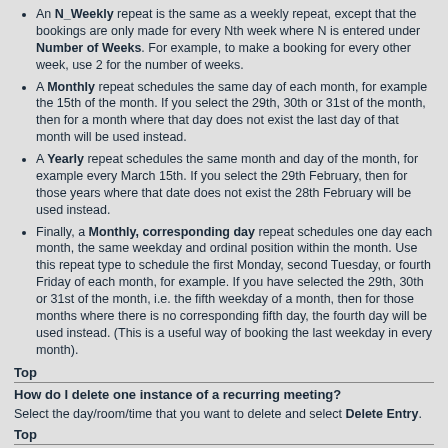An N_Weekly repeat is the same as a weekly repeat, except that the bookings are only made for every Nth week where N is entered under Number of Weeks. For example, to make a booking for every other week, use 2 for the number of weeks.
A Monthly repeat schedules the same day of each month, for example the 15th of the month. If you select the 29th, 30th or 31st of the month, then for a month where that day does not exist the last day of that month will be used instead.
A Yearly repeat schedules the same month and day of the month, for example every March 15th. If you select the 29th February, then for those years where that date does not exist the 28th February will be used instead.
Finally, a Monthly, corresponding day repeat schedules one day each month, the same weekday and ordinal position within the month. Use this repeat type to schedule the first Monday, second Tuesday, or fourth Friday of each month, for example. If you have selected the 29th, 30th or 31st of the month, i.e. the fifth weekday of a month, then for those months where there is no corresponding fifth day, the fourth day will be used instead. (This is a useful way of booking the last weekday in every month).
Top
How do I delete one instance of a recurring meeting?
Select the day/room/time that you want to delete and select Delete Entry.
Top
How do I schedule rooms at different sites?